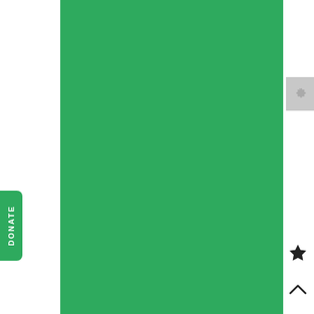[Figure (illustration): Large green textured rectangular panel occupying most of the page from left-center to right edge, full height]
[Figure (illustration): Small green rounded-right-corner DONATE button tab on left edge, middle height, with vertical white text reading DONATE]
[Figure (illustration): Gray settings/gear icon button on the far right edge, upper area]
[Figure (illustration): Black star icon on far right edge, lower area]
[Figure (illustration): Black upward chevron/caret icon on far right edge, bottom area]